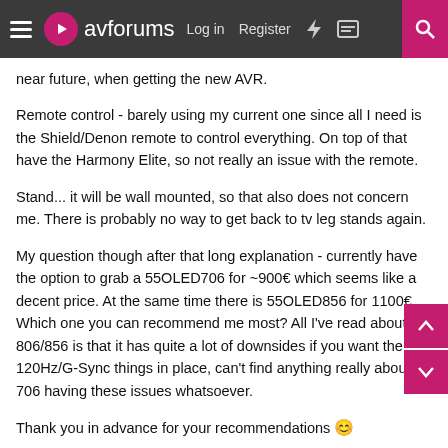avforums  Log in  Register
near future, when getting the new AVR.
Remote control - barely using my current one since all I need is the Shield/Denon remote to control everything. On top of that have the Harmony Elite, so not really an issue with the remote.
Stand... it will be wall mounted, so that also does not concern me. There is probably no way to get back to tv leg stands again.
My question though after that long explanation - currently have the option to grab a 55OLED706 for ~900€ which seems like a decent price. At the same time there is 55OLED856 for 1100€. Which one you can recommend me most? All I've read about the 806/856 is that it has quite a lot of downsides if you want the 120Hz/G-Sync things in place, can't find anything really about 706 having these issues whatsoever.
Thank you in advance for your recommendations 😊